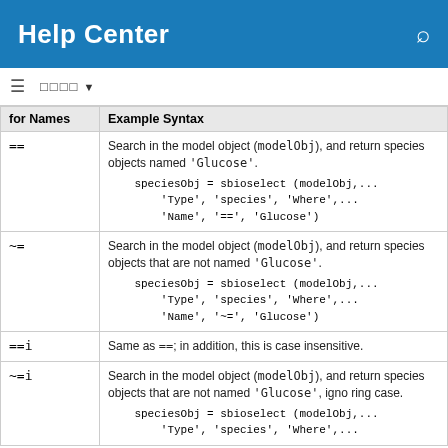Help Center
| for Names | Example Syntax |
| --- | --- |
| == | Search in the model object (modelObj), and return species objects named 'Glucose'.
    speciesObj = sbioselect (modelObj,...
        'Type', 'species', 'Where',...
        'Name', '==', 'Glucose') |
| ~= | Search in the model object (modelObj), and return species objects that are not named 'Glucose'.
    speciesObj = sbioselect (modelObj,...
        'Type', 'species', 'Where',...
        'Name', '~=', 'Glucose') |
| ==i | Same as ==; in addition, this is case insensitive. |
| ~=i | Search in the model object (modelObj), and return species objects that are not named 'Glucose', ignoring case.
    speciesObj = sbioselect (modelObj,...
        'Type', 'species', 'Where',... |